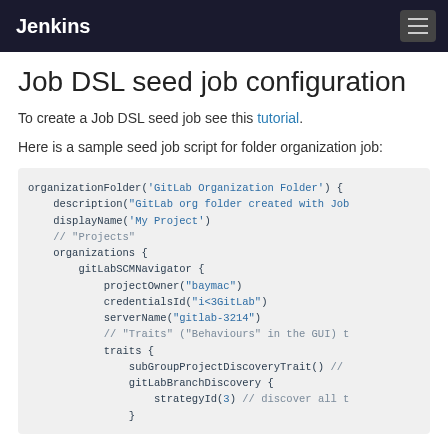Jenkins
Job DSL seed job configuration
To create a Job DSL seed job see this tutorial.
Here is a sample seed job script for folder organization job:
[Figure (screenshot): Code block showing a Job DSL seed job script for folder organization with organizationFolder, description, displayName, organizations, gitLabSCMNavigator, projectOwner, credentialsId, serverName, traits, subGroupProjectDiscoveryTrait, gitLabBranchDiscovery, and strategyId fields.]